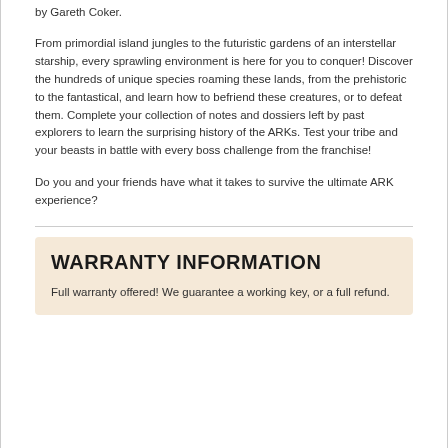by Gareth Coker.
From primordial island jungles to the futuristic gardens of an interstellar starship, every sprawling environment is here for you to conquer! Discover the hundreds of unique species roaming these lands, from the prehistoric to the fantastical, and learn how to befriend these creatures, or to defeat them. Complete your collection of notes and dossiers left by past explorers to learn the surprising history of the ARKs. Test your tribe and your beasts in battle with every boss challenge from the franchise!
Do you and your friends have what it takes to survive the ultimate ARK experience?
WARRANTY INFORMATION
Full warranty offered! We guarantee a working key, or a full refund.